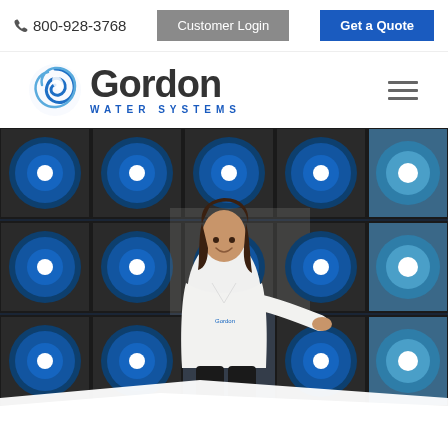📞 800-928-3768  |  Customer Login  |  Get a Quote
[Figure (logo): Gordon Water Systems logo with stylized blue swirl icon, 'Gordon' in dark gray, 'WATER SYSTEMS' in blue spaced letters below]
[Figure (photo): Woman in white Gordon Water Systems shirt standing in front of stacked blue 5-gallon water jugs in crates, smiling and gesturing toward the water bottles]